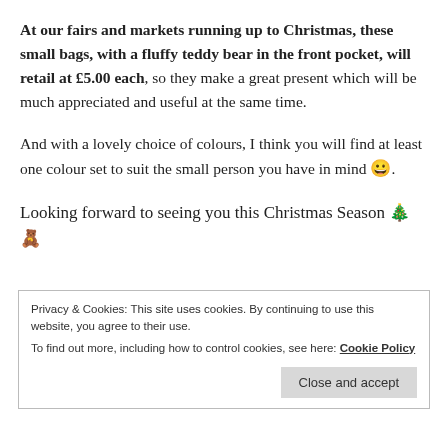At our fairs and markets running up to Christmas, these small bags, with a fluffy teddy bear in the front pocket, will retail at £5.00 each, so they make a great present which will be much appreciated and useful at the same time.
And with a lovely choice of colours, I think you will find at least one colour set to suit the small person you have in mind 😀.
Looking forward to seeing you this Christmas Season 🎄🧸
Privacy & Cookies: This site uses cookies. By continuing to use this website, you agree to their use.
To find out more, including how to control cookies, see here: Cookie Policy
Close and accept